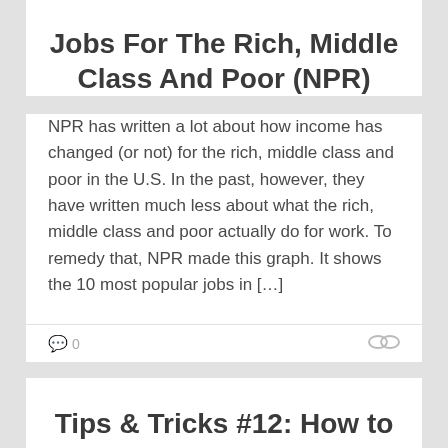Jobs For The Rich, Middle Class And Poor (NPR)
NPR has written a lot about how income has changed (or not) for the rich, middle class and poor in the U.S. In the past, however, they have written much less about what the rich, middle class and poor actually do for work. To remedy that, NPR made this graph. It shows the 10 most popular jobs in […]
0
Tips & Tricks #12: How to Troubleshoot Cross Joins in SQL Reports for the SQL